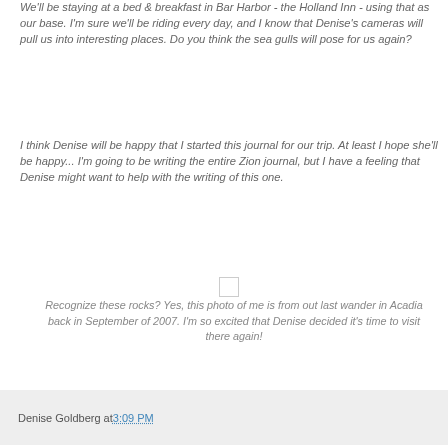We'll be staying at a bed & breakfast in Bar Harbor - the Holland Inn - using that as our base. I'm sure we'll be riding every day, and I know that Denise's cameras will pull us into interesting places. Do you think the sea gulls will pose for us again?
I think Denise will be happy that I started this journal for our trip. At least I hope she'll be happy... I'm going to be writing the entire Zion journal, but I have a feeling that Denise might want to help with the writing of this one.
[Figure (photo): Small placeholder image icon]
Recognize these rocks? Yes, this photo of me is from out last wander in Acadia back in September of 2007. I'm so excited that Denise decided it's time to visit there again!
Denise Goldberg at 3:09 PM
Table of Contents